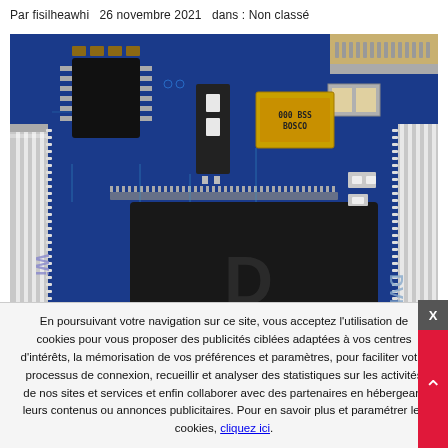Par fisilheawhi   26 novembre 2021   dans : Non classé
[Figure (photo): Close-up photograph of a blue printed circuit board (PCB) showing various electronic components including ICs, connectors, capacitors, and a large chip labeled 'D Riv' with 'DVD' visible on the right side.]
En poursuivant votre navigation sur ce site, vous acceptez l'utilisation de cookies pour vous proposer des publicités ciblées adaptées à vos centres d'intérêts, la mémorisation de vos préférences et paramètres, pour faciliter votre processus de connexion, recueillir et analyser des statistiques sur les activités de nos sites et services et enfin collaborer avec des partenaires en hébergeant leurs contenus ou annonces publicitaires. Pour en savoir plus et paramétrer les cookies, cliquez ici.